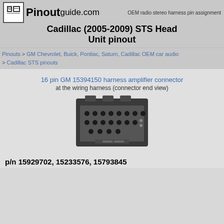OEM radio stereo harness pin assignment
Cadillac (2005-2009) STS Head Unit pinout
Pinouts > GM Chevrolet, Buick, Pontiac, Saturn, Cadillac OEM car audio > Cadillac STS pinouts
16 pin GM 15394150 harness amplifier connector
at the wiring harness (connector end view)
[Figure (photo): Photo of a 16-pin GM wiring harness connector (black plastic, end view showing pin holes)]
p/n 15929702, 15233576, 15793845